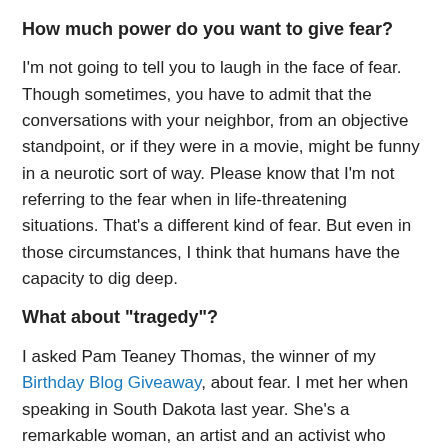How much power do you want to give fear?
I'm not going to tell you to laugh in the face of fear. Though sometimes, you have to admit that the conversations with your neighbor, from an objective standpoint, or if they were in a movie, might be funny in a neurotic sort of way. Please know that I'm not referring to the fear when in life-threatening situations. That's a different kind of fear. But even in those circumstances, I think that humans have the capacity to dig deep.
What about “tragedy”?
I asked Pam Teaney Thomas, the winner of my Birthday Blog Giveaway, about fear. I met her when speaking in South Dakota last year. She’s a remarkable woman, an artist and an activist who works with youth. She has seen